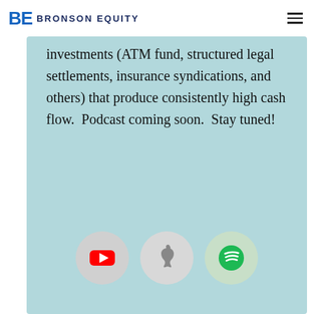BE BRONSON EQUITY
investments (ATM fund, structured legal settlements, insurance syndications, and others) that produce consistently high cash flow.  Podcast coming soon.  Stay tuned!
[Figure (other): Three podcast platform icons: YouTube (red play button on gray circle), Apple Podcasts (Apple logo on gray circle), Spotify (green Spotify logo on light green circle)]